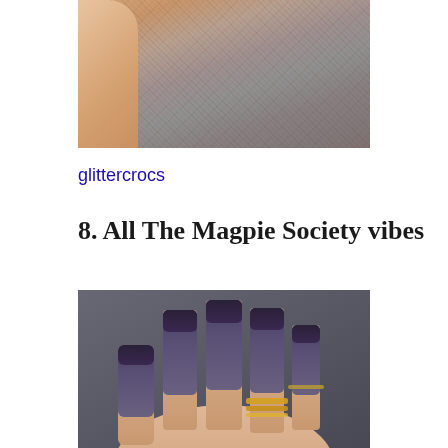[Figure (photo): Top portion of a photo showing a hand/skin and sandy/rocky textured surface in background, cropped at top of page]
glittercrocs
8. All The Magpie Society vibes
[Figure (photo): Close-up photo of a hand with long square matte purple/violet nails with dark purple tips (reverse French manicure style), wearing gold stacked rings on the finger, against a dark grey background]